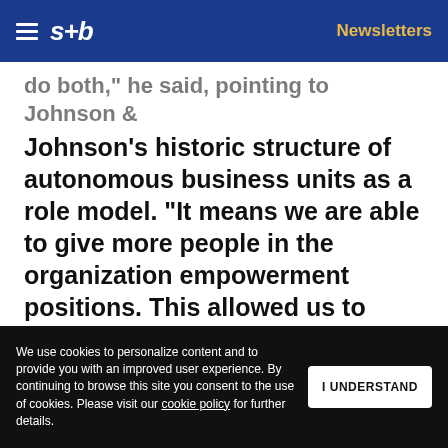s+b  Newsletters
do both, he said, pointing to Johnson & Johnson's historic structure of autonomous business units as a role model. "It means we are able to give more people in the organization empowerment positions. This allowed us to retain everyone we wanted to retain," he said.
We have learned the divisional groups a fair ... and autonomy because we
Get s+b's award-winning newsletter delivered to your inbox.
We use cookies to personalize content and to provide you with an improved user experience. By continuing to browse this site you consent to the use of cookies. Please visit our cookie policy for further details.